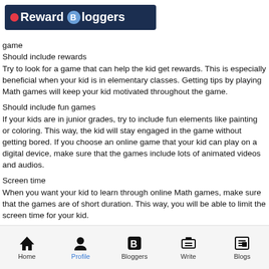Reward Bloggers
game
Should include rewards
Try to look for a game that can help the kid get rewards. This is especially beneficial when your kid is in elementary classes. Getting tips by playing Math games will keep your kid motivated throughout the game.
Should include fun games
If your kids are in junior grades, try to include fun elements like painting or coloring. This way, the kid will stay engaged in the game without getting bored. If you choose an online game that your kid can play on a digital device, make sure that the games include lots of animated videos and audios.
Screen time
When you want your kid to learn through online Math games, make sure that the games are of short duration. This way, you will be able to limit the screen time for your kid.
Easy to learn
The game should emphasize learning as well as fun. Thus, make sure to
Home  Profile  Bloggers  Write  Blogs